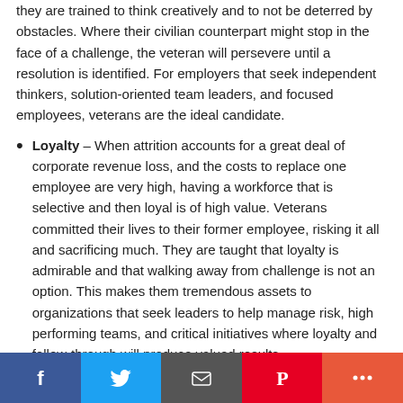they are trained to think creatively and to not be deterred by obstacles. Where their civilian counterpart might stop in the face of a challenge, the veteran will persevere until a resolution is identified. For employers that seek independent thinkers, solution-oriented team leaders, and focused employees, veterans are the ideal candidate.
Loyalty – When attrition accounts for a great deal of corporate revenue loss, and the costs to replace one employee are very high, having a workforce that is selective and then loyal is of high value. Veterans committed their lives to their former employee, risking it all and sacrificing much. They are taught that loyalty is admirable and that walking away from challenge is not an option. This makes them tremendous assets to organizations that seek leaders to help manage risk, high performing teams, and critical initiatives where loyalty and follow-through will produce valued results.
Trainability – When an individual joins the military, typically at a young age, they do not enter with the training...